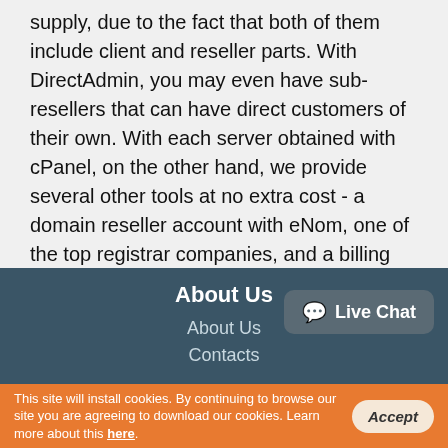supply, due to the fact that both of them include client and reseller parts. With DirectAdmin, you may even have sub-resellers that can have direct customers of their own. With each server obtained with cPanel, on the other hand, we provide several other tools at no extra cost - a domain reseller account with eNom, one of the top registrar companies, and a billing and support application named ClientExec, which features a web payment gateway and a ticketing system.
About Us
About Us
Contacts
[Figure (other): Live Chat bubble button in bottom right of footer]
This site will install cookies. By continuing to browse our site you are agreeing to download our cookies. Learn more about this here.